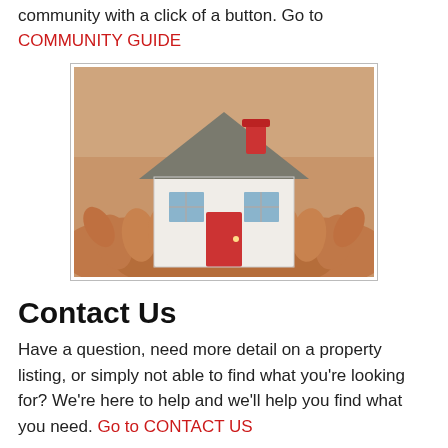community with a click of a button. Go to COMMUNITY GUIDE
[Figure (photo): Hands holding a small model house with grey roof and red chimney and door]
Contact Us
Have a question, need more detail on a property listing, or simply not able to find what you're looking for? We're here to help and we'll help you find what you need. Go to CONTACT US